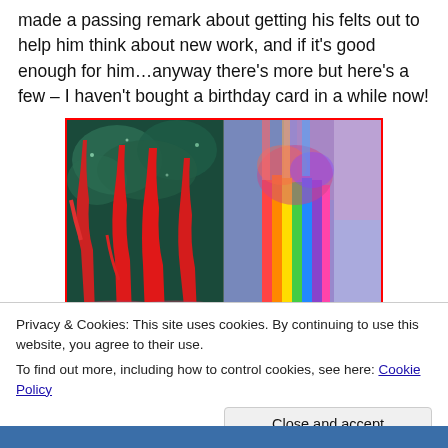made a passing remark about getting his felts out to help him think about new work, and if it's good enough for him…anyway there's more but here's a few – I haven't bought a birthday card in a while now!
[Figure (illustration): Two side-by-side artwork panels: left panel shows red/pink tree trunks in a dark forest scene with teal background; right panel shows a colorful abstract tree with rainbow-colored vertical stripes on trunk against a blue/purple background.]
Privacy & Cookies: This site uses cookies. By continuing to use this website, you agree to their use.
To find out more, including how to control cookies, see here: Cookie Policy